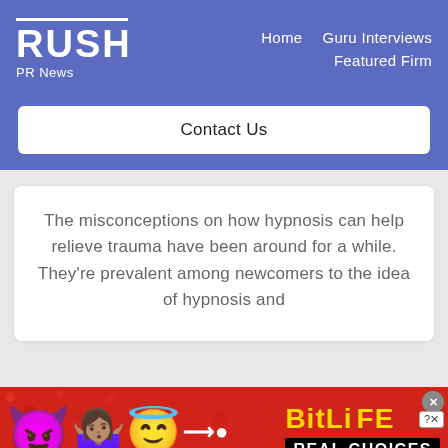RUSH PR News — Home, Guru Interviews, Featured Firm
Contact Us
The misconceptions on how hypnosis can help relieve trauma have been around for a while. They're prevalent among newcomers to the idea of hypnosis and
[Figure (illustration): BitLife advertisement banner with devil emoji, woman emoji, angel emoji, sperm symbol, BitLife logo in yellow, and REAL CHOICES text on black background over red polka dot background.]